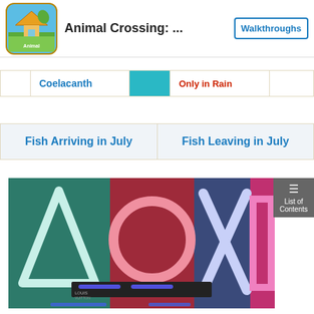Animal Crossing: ... | Walkthroughs
|  | Coelacanth |  | Only in Rain |  |
| --- | --- | --- | --- | --- |
| Fish Arriving in July | Fish Leaving in July |
| --- | --- |
[Figure (photo): PlayStation symbols (triangle, circle, X, square) as large illuminated neon-style signs in teal, red/pink, blue, and pink colors at what appears to be a gaming expo display.]